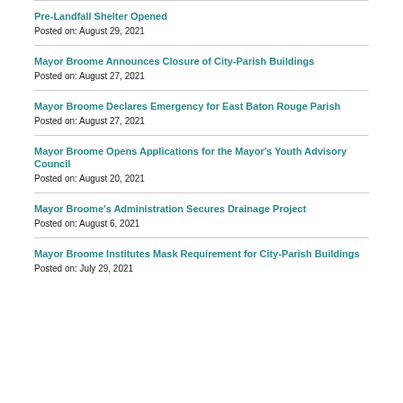Pre-Landfall Shelter Opened
Posted on: August 29, 2021
Mayor Broome Announces Closure of City-Parish Buildings
Posted on: August 27, 2021
Mayor Broome Declares Emergency for East Baton Rouge Parish
Posted on: August 27, 2021
Mayor Broome Opens Applications for the Mayor's Youth Advisory Council
Posted on: August 20, 2021
Mayor Broome's Administration Secures Drainage Project
Posted on: August 6, 2021
Mayor Broome Institutes Mask Requirement for City-Parish Buildings
Posted on: July 29, 2021